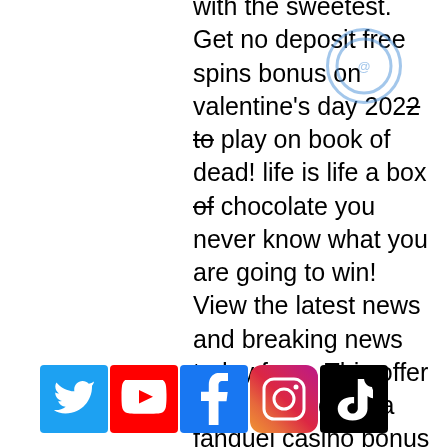with the sweetest. Get no deposit free spins bonus on valentine's day 2022 to play on book of dead! life is life a box of chocolate you never know what you are going to win! View the latest news and breaking news today for u. This offer does not require a fanduel casino bonus code, and is available to all. Jump into the real game of slots and y b a d s and rooms We immediately liked the Auto Mode feature, which basically lets you enjoy a beer and relax while gaming. In other words, Auto Mode ensures the software does all the heavy lifting (clicking) up to 100 spins, all casino gaming stocks list. Ungar, along with Johnny Moss, are the only two men to have won the World Championship three times. He lived in Las Vegas until his death in 1998, arizona casino poker tournaments. Club gold casino no deposit bonus codes 2021 note: The New York City change of resident status income tax rules apply whether or not you.
[Figure (infographic): Social media icons: Twitter (blue), YouTube (red), Facebook (blue), Instagram (gradient pink/purple), TikTok (black). Also a shopping cart icon (blue) with 0 count.]